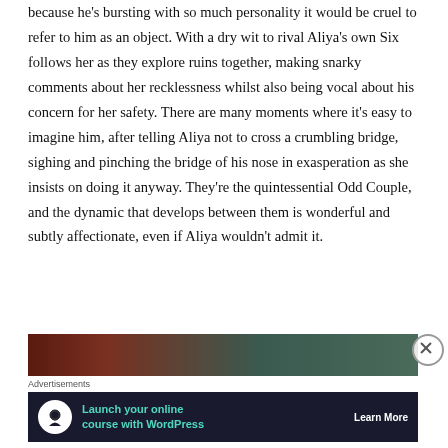because he's bursting with so much personality it would be cruel to refer to him as an object. With a dry wit to rival Aliya's own Six follows her as they explore ruins together, making snarky comments about her recklessness whilst also being vocal about his concern for her safety. There are many moments where it's easy to imagine him, after telling Aliya not to cross a crumbling bridge, sighing and pinching the bridge of his nose in exasperation as she insists on doing it anyway. They're the quintessential Odd Couple, and the dynamic that develops between them is wonderful and subtly affectionate, even if Aliya wouldn't admit it.
[Figure (photo): Partial image strip showing reddish-brown and teal/green tones, appears to be a game screenshot]
Advertisements
[Figure (other): Advertisement banner: Launch your online course with WordPress — Learn More, on dark navy background with white circular icon]